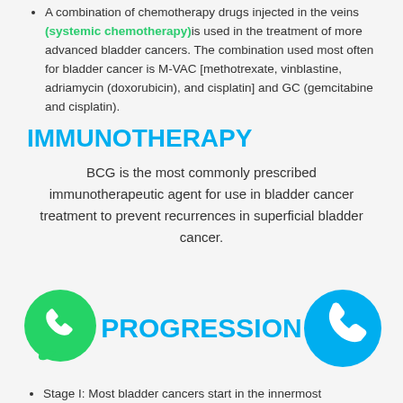A combination of chemotherapy drugs injected in the veins (systemic chemotherapy) is used in the treatment of more advanced bladder cancers. The combination used most often for bladder cancer is M-VAC [methotrexate, vinblastine, adriamycin (doxorubicin), and cisplatin] and GC (gemcitabine and cisplatin).
IMMUNOTHERAPY
BCG is the most commonly prescribed immunotherapeutic agent for use in bladder cancer treatment to prevent recurrences in superficial bladder cancer.
[Figure (logo): Green WhatsApp icon (speech bubble with phone handset)]
PROGRESSION
[Figure (logo): Blue circle phone icon]
Stage I: Most bladder cancers start in the innermost